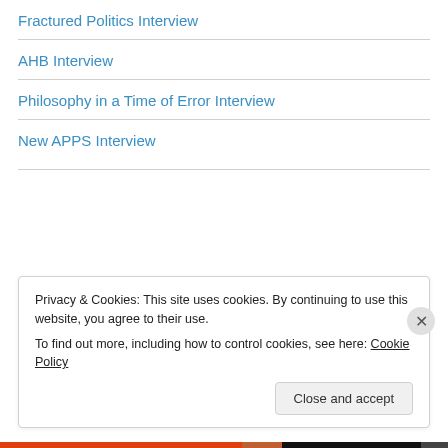Fractured Politics Interview
AHB Interview
Philosophy in a Time of Error Interview
New APPS Interview
Privacy & Cookies: This site uses cookies. By continuing to use this website, you agree to their use.
To find out more, including how to control cookies, see here: Cookie Policy